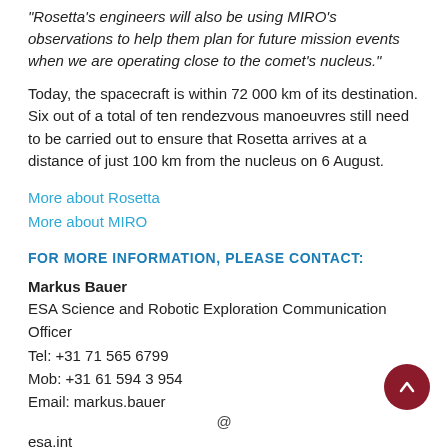"Rosetta's engineers will also be using MIRO's observations to help them plan for future mission events when we are operating close to the comet's nucleus."
Today, the spacecraft is within 72 000 km of its destination. Six out of a total of ten rendezvous manoeuvres still need to be carried out to ensure that Rosetta arrives at a distance of just 100 km from the nucleus on 6 August.
More about Rosetta
More about MIRO
FOR MORE INFORMATION, PLEASE CONTACT:
Markus Bauer
ESA Science and Robotic Exploration Communication Officer
Tel: +31 71 565 6799
Mob: +31 61 594 3 954
Email: markus.bauer
@
esa.int
Matt Taylor
ESA Rosetta project scientist
Email: matthew.taylor
@